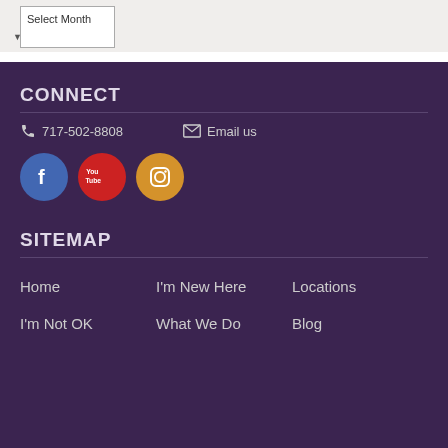Select Month (dropdown)
CONNECT
717-502-8808   Email us
[Figure (illustration): Three social media icons in circles: Facebook (blue), YouTube (red), Instagram (orange/gold)]
SITEMAP
Home
I'm New Here
Locations
I'm Not OK
What We Do
Blog